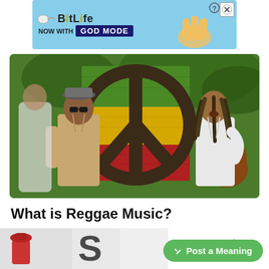[Figure (illustration): BitLife advertisement banner with light blue background, sperm icon, BitLife logo in black and yellow, NOW WITH text, GOD MODE in dark blue box, pointing hand illustration, help and close buttons]
[Figure (photo): Two reggae musicians in front of a large peace symbol on a Rastafarian colored wall (green, yellow, red). Left figure wears hat and sunglasses with tan shirt. Right figure has dreadlocks and plays acoustic guitar wearing white shirt.]
What is Reggae Music?
Berina Avdic
9 months ago
[Figure (screenshot): Partial bottom thumbnail image strip showing partial article images]
✏ Post a Meaning